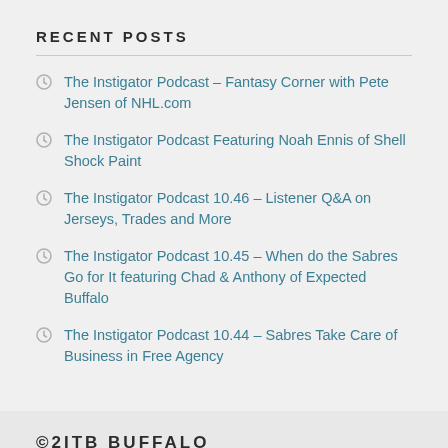RECENT POSTS
The Instigator Podcast – Fantasy Corner with Pete Jensen of NHL.com
The Instigator Podcast Featuring Noah Ennis of Shell Shock Paint
The Instigator Podcast 10.46 – Listener Q&A on Jerseys, Trades and More
The Instigator Podcast 10.45 – When do the Sabres Go for It featuring Chad & Anthony of Expected Buffalo
The Instigator Podcast 10.44 – Sabres Take Care of Business in Free Agency
©2ITB BUFFALO